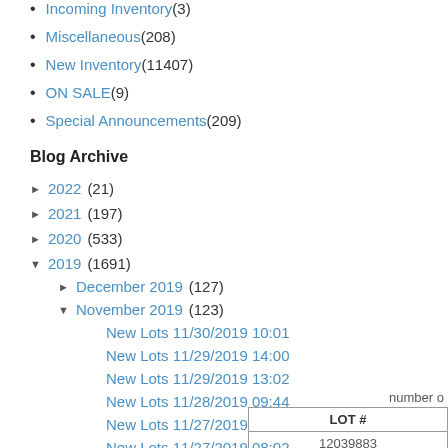Incoming Inventory (3)
Miscellaneous (208)
New Inventory (11407)
ON SALE (9)
Special Announcements (209)
Blog Archive
► 2022 (21)
► 2021 (197)
► 2020 (533)
▼ 2019 (1691)
► December 2019 (127)
▼ November 2019 (123)
New Lots 11/30/2019 10:01
New Lots 11/29/2019 14:00
New Lots 11/29/2019 13:02
New Lots 11/28/2019 09:44
New Lots 11/27/2019 09:03
New Lots 11/27/2019 08:02
New Lots 11/27/2019 05:02
| LOT # |
| --- |
| 12039883 |
| 12042363 |
| 12010534 |
| 12054203 |
| 11878445 |